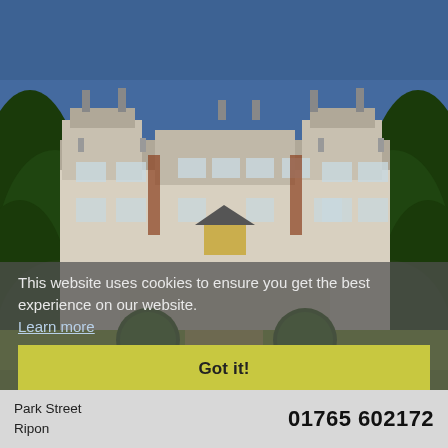[Figure (photo): Exterior photograph of a large historic English country house or hotel, with a grey-blue sky, manicured topiary trees and hedges in the foreground, and a cream/white multi-storey building with dormer windows and chimneys.]
This website uses cookies to ensure you get the best experience on our website. Learn more
Got it!
Park Street
Ripon
01765 602172